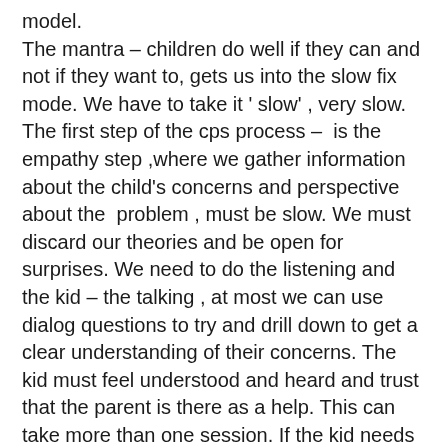model. The mantra – children do well if they can and not if they want to, gets us into the slow fix mode. We have to take it ' slow' , very slow. The first step of the cps process –  is the empathy step ,where we gather information about the child's concerns and perspective about the  problem , must be slow. We must discard our theories and be open for surprises. We need to do the listening and the kid – the talking , at most we can use dialog questions to try and drill down to get a clear understanding of their concerns. The kid must feel understood and heard and trust that the parent is there as a help. This can take more than one session. If the kid needs some time alone to ' think about it ' –give him the time. The same goes for the other steps in the model.
Sometimes parents and kids get stuck when trying to brainstorm a mutually satisfying solution. Again,